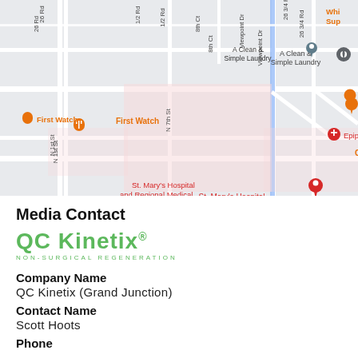[Figure (map): Google Maps view showing area around N 7th St and Wellington Ave in Grand Junction, CO. Visible landmarks include St. Mary's Hospital and Regional Medical, Epiphany Dermatology, A Clean & Simple Laundry, First Watch, 7th Street Deli, Four W Coffee and, Bookcliff Ave, N 1st St, 26 Rd, Viewpoint Dr, 26 3/4 Rd, 8th Ct, and N 7th St.]
Media Contact
[Figure (logo): QC Kinetix logo with green text and subtitle NON-SURGICAL REGENERATION]
Company Name
QC Kinetix (Grand Junction)
Contact Name
Scott Hoots
Phone